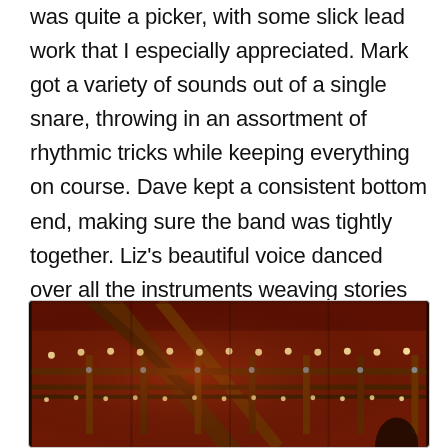was quite a picker, with some slick lead work that I especially appreciated. Mark got a variety of sounds out of a single snare, throwing in an assortment of rhythmic tricks while keeping everything on course. Dave kept a consistent bottom end, making sure the band was tightly together. Liz's beautiful voice danced over all the instruments weaving stories with emotion and poise. This is an exceptional band. Every time I've seen them I have considered my time well spent and came away very gratified.
[Figure (photo): Interior photo of a wooden venue with red lighting. Wooden beams and railings are visible, with strings of small white lights decorating the space. The atmosphere is warm and dimly lit.]